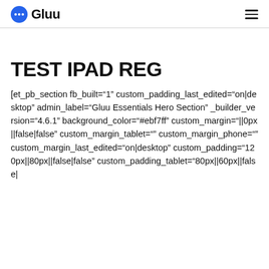Gluu
TEST IPAD REG
[et_pb_section fb_built="1" custom_padding_last_edited="on|desktop" admin_label="Gluu Essentials Hero Section" _builder_version="4.6.1" background_color="#ebf7ff" custom_margin="||0px||false|false" custom_margin_tablet="" custom_margin_phone="" custom_margin_last_edited="on|desktop" custom_padding="120px||80px||false|false" custom_padding_tablet="80px||60px||false|